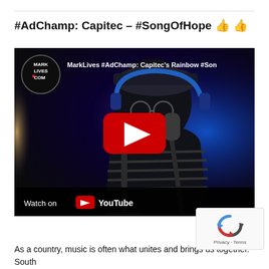#AdChamp: Capitec – #SongOfHope 👍 👍
[Figure (screenshot): YouTube video embed thumbnail showing a person in a recording studio wearing headphones and a striped shirt, with a microphone in the foreground. Blue and purple studio lighting. MarkLives logo in top-left corner. Title reads 'MarkLives #AdChamp: Capitec's Rainbow #Son...' Play button overlay in center. 'Watch on YouTube' bar at bottom.]
As a country, music is often what unites and brings us together. South